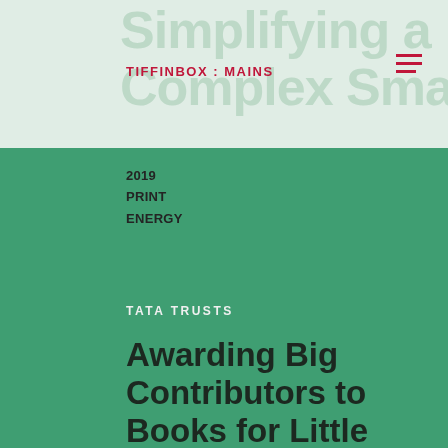Simplifying a Complex Smart Grid
TIFFINBOX : MAINS
2019
PRINT
ENERGY
TATA TRUSTS
Awarding Big Contributors to Books for Little People
2021
BRANDING, DIGITAL, EVENT, ILLUSTRATION, NAMING, PRINT